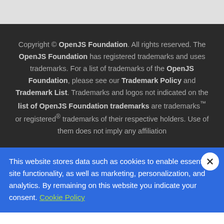Copyright © OpenJS Foundation. All rights reserved. The OpenJS Foundation has registered trademarks and uses trademarks. For a list of trademarks of the OpenJS Foundation, please see our Trademark Policy and Trademark List. Trademarks and logos not indicated on the list of OpenJS Foundation trademarks are trademarks™ or registered® trademarks of their respective holders. Use of them does not imply any affiliation
This website stores data such as cookies to enable essential site functionality, as well as marketing, personalization, and analytics. By remaining on this website you indicate your consent. Cookie Policy